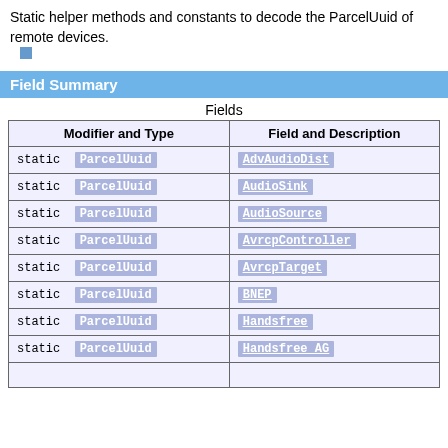Static helper methods and constants to decode the ParcelUuid of remote devices.
Field Summary
Fields
| Modifier and Type | Field and Description |
| --- | --- |
| static  ParcelUuid | AdvAudioDist |
| static  ParcelUuid | AudioSink |
| static  ParcelUuid | AudioSource |
| static  ParcelUuid | AvrcpController |
| static  ParcelUuid | AvrcpTarget |
| static  ParcelUuid | BNEP |
| static  ParcelUuid | Handsfree |
| static  ParcelUuid | Handsfree AG |